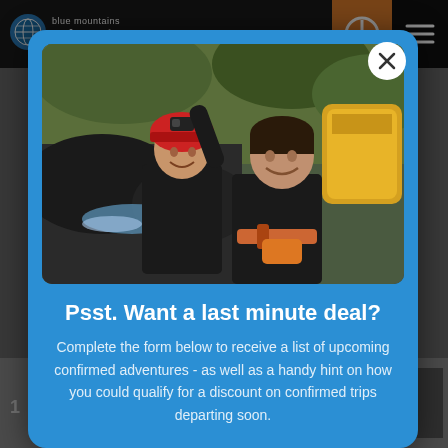[Figure (logo): Blue Mountains Adventure logo with globe icon and text]
[Figure (photo): Two people in wetsuits and helmets doing canyoning/adventure activity outdoors, smiling at the camera]
Psst. Want a last minute deal?
Complete the form below to receive a list of upcoming confirmed adventures - as well as a handy hint on how you could qualify for a discount on confirmed trips departing soon.